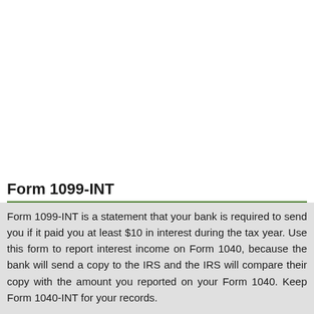Form 1099-INT
Form 1099-INT is a statement that your bank is required to send you if it paid you at least $10 in interest during the tax year. Use this form to report interest income on Form 1040, because the bank will send a copy to the IRS and the IRS will compare their copy with the amount you reported on your Form 1040. Keep Form 1040-INT for your records.